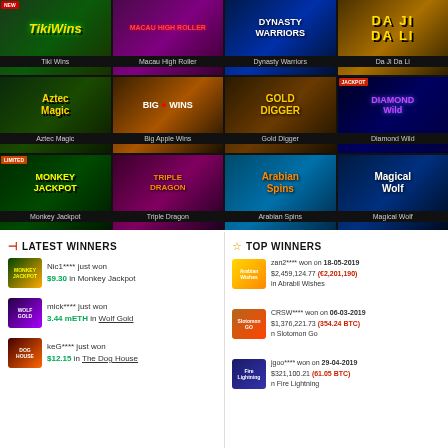[Figure (screenshot): Online casino game grid showing 12 slot game thumbnails in a 4x3 grid: Tiki Wins (new badge), Macau High Roller, Dynasty Warriors, Da Ji Da Li, Aztec Magic, Big Apple Wins, Gold Digger, Diamond Wild (jackpot badge), Monkey Jackpot (limited badge), Triple Dragon, Arabian Spins, Magical Wolf]
LATEST WINNERS
Nic1**** just won $9.30 in Monkey Jackpot
mick**** just won 3.44 mETH in Wolf Gold
keG**** just won $12.15 in The Dog House
TOP WINNERS
zan2**** won on 18-05-2019 $2,459,124.77 (€2,201,190) in Abrabil Wishes
CRSW**** won on 06-03-2019 $1,376,221.73 (354.24 BTC) in Slotomon Go
jgoo**** won on 29-04-2019 $321,100.21 (61.05 BTC) in Fire Lightning